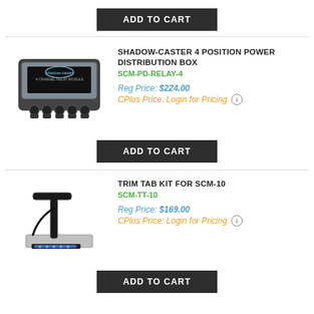[Figure (photo): ADD TO CART button (partially visible at top of page)]
[Figure (photo): Shadow-Caster 4 position power distribution box product photo]
SHADOW-CASTER 4 POSITION POWER DISTRIBUTION BOX
SCM-PD-RELAY-4
Reg Price: $224.00
CPlus Price: Login for Pricing
[Figure (other): ADD TO CART button]
[Figure (photo): Trim Tab Kit for SCM-10 product photo]
TRIM TAB KIT FOR SCM-10
SCM-TT-10
Reg Price: $169.00
CPlus Price: Login for Pricing
[Figure (other): ADD TO CART button (partially visible at bottom)]